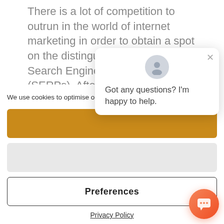There is a lot of competition to outrun in the world of internet marketing in order to obtain a spot on the distinguished first page in the Search Engine Results Pages (SERPs). After all, there could be dozens upon dozens of different websites all gunning to rank for the same keyword at
We use cookies to optimise our website and our service.
[Figure (other): Orange/gold accept cookies button]
[Figure (other): Gray placeholder button]
[Figure (other): Preferences button with border]
Privacy Policy
[Figure (other): Chat popup with avatar icon and close button, message: Got any questions? I'm happy to help.]
[Figure (other): Orange chat bubble button in bottom right corner]